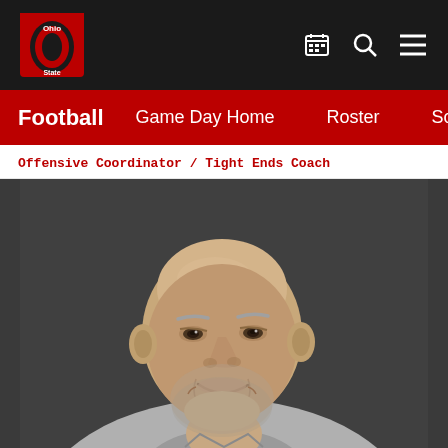Ohio State Football - Navigation Header
Football  Game Day Home  Roster  Schedule
Offensive Coordinator / Tight Ends Coach
[Figure (photo): Headshot portrait of a middle-aged bald man with gray stubble beard, smiling, wearing a gray quarter-zip and dark red tie, against a dark gray background. Ohio State football coach.]